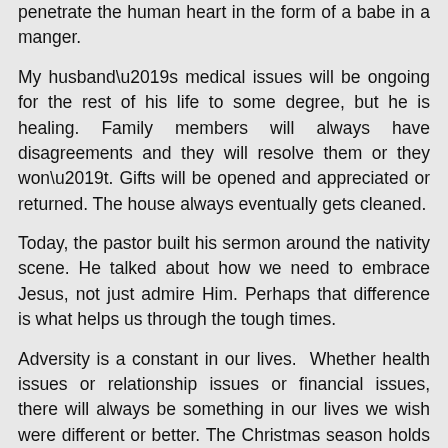penetrate the human heart in the form of a babe in a manger.
My husband’s medical issues will be ongoing for the rest of his life to some degree, but he is healing. Family members will always have disagreements and they will resolve them or they won’t. Gifts will be opened and appreciated or returned. The house always eventually gets cleaned.
Today, the pastor built his sermon around the nativity scene. He talked about how we need to embrace Jesus, not just admire Him. Perhaps that difference is what helps us through the tough times.
Adversity is a constant in our lives.  Whether health issues or relationship issues or financial issues, there will always be something in our lives we wish were different or better. The Christmas season holds the promise that someday, none of these material concerns will matter if we cling to the gift given to all of us on Christmas Day, the Christ child, the Son of